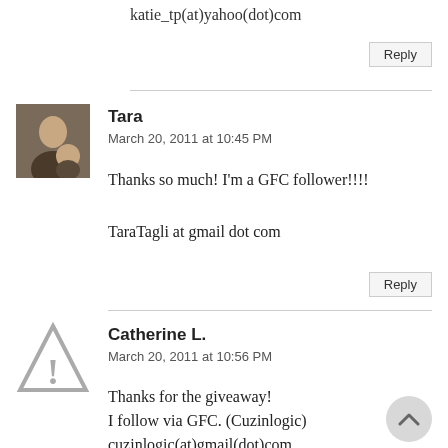katie_tp(at)yahoo(dot)com
Reply
Tara
March 20, 2011 at 10:45 PM
Thanks so much! I'm a GFC follower!!!!
TaraTagli at gmail dot com
Reply
Catherine L.
March 20, 2011 at 10:56 PM
Thanks for the giveaway!
I follow via GFC. (Cuzinlogic)
cuzinlogic(at)gmail(dot)com